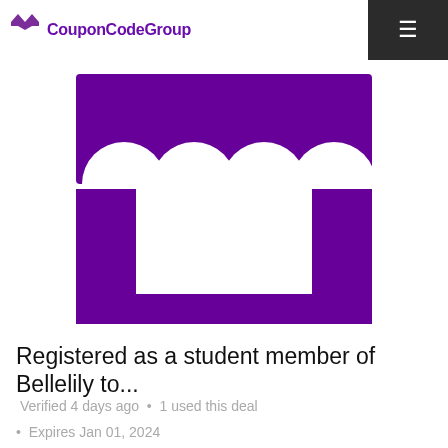CouponCodeGroup
[Figure (logo): Purple store/shop icon with awning scallops on top and a rectangular base with white cutout window, representing a marketplace or store logo]
Registered as a student member of Bellelily to...
Verified 4 days ago • 1 used this deal
Expires Jan 01, 2024